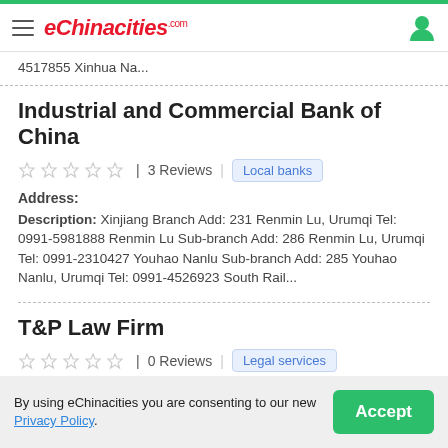eChinacities.com
4517855 Xinhua Na...
Industrial and Commercial Bank of China
3 Reviews | Local banks
Address:
Description: Xinjiang Branch Add: 231 Renmin Lu, Urumqi Tel: 0991-5981888 Renmin Lu Sub-branch Add: 286 Renmin Lu, Urumqi Tel: 0991-2310427 Youhao Nanlu Sub-branch Add: 285 Youhao Nanlu, Urumqi Tel: 0991-4526923 South Rail...
T&P Law Firm
0 Reviews | Legal services
Address: 24 & 25F, Century Parkson Hotel, 36 Xinhua Nanlu, Tianshan ...
By using eChinacities you are consenting to our new Privacy Policy.